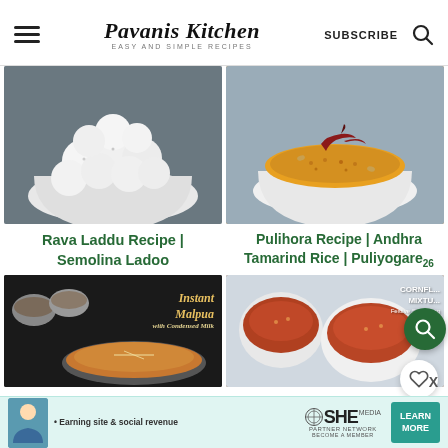Pavanis Kitchen — EASY AND SIMPLE RECIPES — SUBSCRIBE
[Figure (photo): White bowl filled with round white rava laddu balls on dark background]
[Figure (photo): White bowl of yellow pulihora (tamarind rice) with red dried chilies on top]
Rava Laddu Recipe | Semolina Ladoo
Pulihora Recipe | Andhra Tamarind Rice | Puliyogare 26
[Figure (photo): Instant Malpua with Condensed Milk on dark background]
[Figure (photo): Cornflakes Mixture snack in bowls]
[Figure (infographic): SHE Media advertisement banner — Earning site and social revenue, PARTNER NETWORK, BECOME A MEMBER, LEARN MORE button]